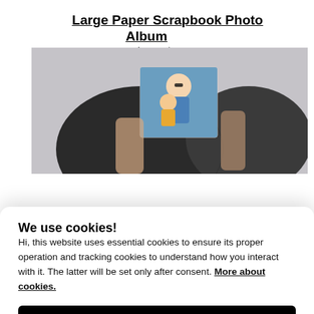Large Paper Scrapbook Photo Album
Starting at $25.00
[Figure (photo): Hand holding a dark leather-textured photo album open, with a small photo visible showing a woman and baby smiling, shot against a light background.]
We use cookies!
Hi, this website uses essential cookies to ensure its proper operation and tracking cookies to understand how you interact with it. The latter will be set only after consent. More about cookies.
Accept all
Preferences